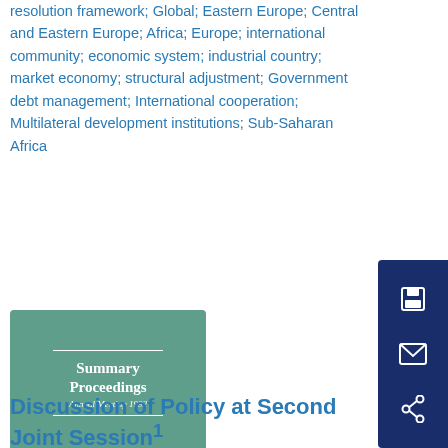resolution framework; Global; Eastern Europe; Central and Eastern Europe; Africa; Europe; international community; economic system; industrial country; market economy; structural adjustment; Government debt management; International cooperation; Multilateral development institutions; Sub-Saharan Africa
[Figure (illustration): Book cover of 'Summary Proceedings Annual Meeting 1992' published by International Monetary Fund, with green/teal background and white text]
Discussion of Policy at Second Joint Session1